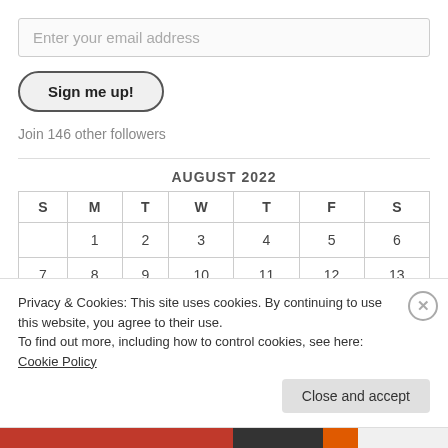Enter your email address
Sign me up!
Join 146 other followers
| S | M | T | W | T | F | S |
| --- | --- | --- | --- | --- | --- | --- |
|  | 1 | 2 | 3 | 4 | 5 | 6 |
| 7 | 8 | 9 | 10 | 11 | 12 | 13 |
Privacy & Cookies: This site uses cookies. By continuing to use this website, you agree to their use.
To find out more, including how to control cookies, see here: Cookie Policy
Close and accept